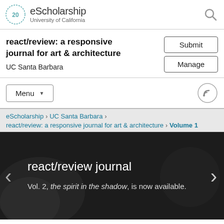eScholarship — University of California
react/review: a responsive journal for art & architecture
UC Santa Barbara
Menu
eScholarship > UC Santa Barbara > react/review: a responsive journal for art & architecture > Volume 1
[Figure (screenshot): Hero banner with dark background showing react/review journal title and text: Vol. 2, the spirit in the shadow, is now available. Left and right navigation arrows visible.]